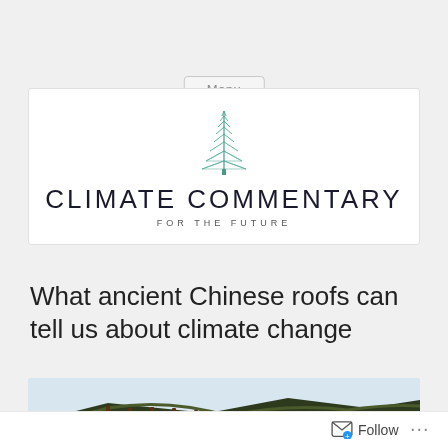Menu
[Figure (logo): Climate Commentary For The Future logo with a green pine tree illustration above the text]
What ancient Chinese roofs can tell us about climate change
[Figure (photo): Photo of ornate ancient Chinese roof architecture with decorative tiles and curved eaves against a light blue sky]
Follow ...